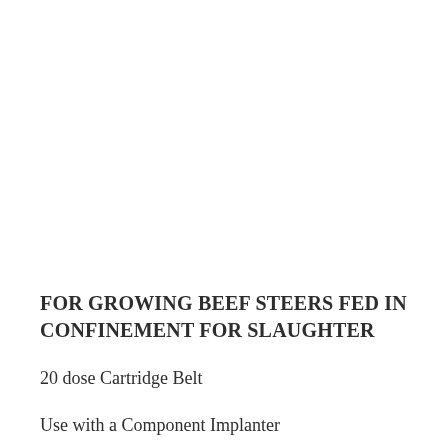FOR GROWING BEEF STEERS FED IN CONFINEMENT FOR SLAUGHTER
20 dose Cartridge Belt
Use with a Component Implanter